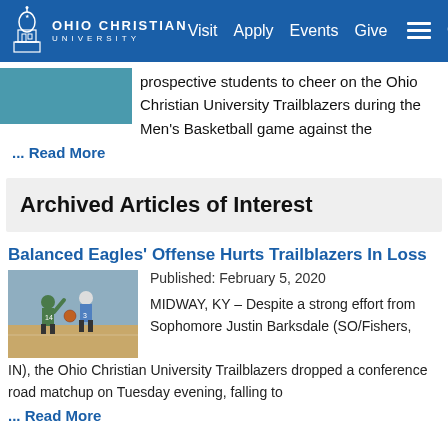Ohio Christian University — Visit Apply Events Give
prospective students to cheer on the Ohio Christian University Trailblazers during the Men's Basketball game against the
... Read More
Archived Articles of Interest
Balanced Eagles' Offense Hurts Trailblazers In Loss
[Figure (photo): Two basketball players on court, one in green and one in white/blue uniform]
Published: February 5, 2020
MIDWAY, KY – Despite a strong effort from Sophomore Justin Barksdale (SO/Fishers, IN), the Ohio Christian University Trailblazers dropped a conference road matchup on Tuesday evening, falling to
... Read More